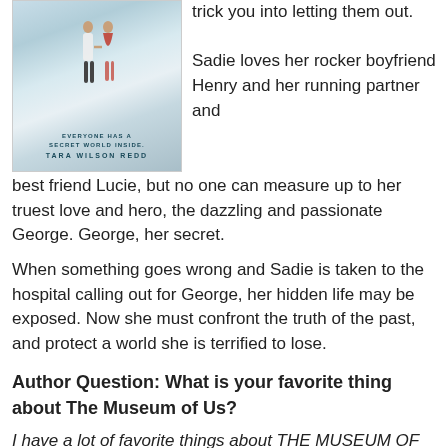[Figure (illustration): Book cover for 'The Museum of Us' by Tara Wilson Redd, showing two figures holding hands against a dreamy cloudy background, with tagline 'Everyone has a secret world inside.']
trick you into letting them out.
Sadie loves her rocker boyfriend Henry and her running partner and best friend Lucie, but no one can measure up to her truest love and hero, the dazzling and passionate George. George, her secret.
When something goes wrong and Sadie is taken to the hospital calling out for George, her hidden life may be exposed. Now she must confront the truth of the past, and protect a world she is terrified to lose.
Author Question: What is your favorite thing about The Museum of Us?
I have a lot of favorite things about THE MUSEUM OF US depending on the day, but what I actually love most is that